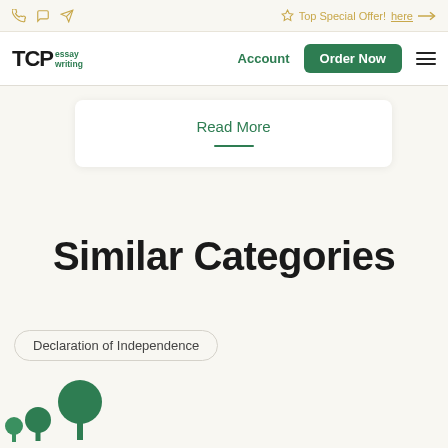Top Special Offer! here →
[Figure (logo): TCPessay writing logo with green accent]
Account
Order Now
Read More
Similar Categories
Declaration of Independence